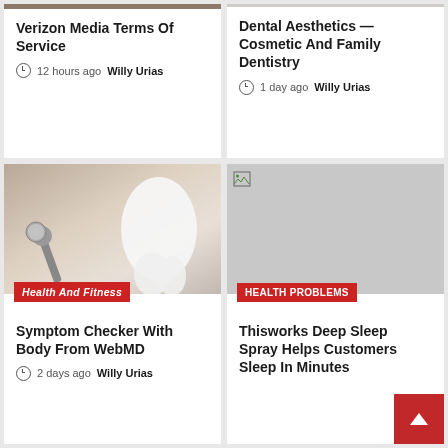Verizon Media Terms Of Service
12 hours ago  Willy Urias
Dental Aesthetics — Cosmetic And Family Dentistry
1 day ago  Willy Urias
[Figure (photo): Dental tools and tooth model on a table]
Health And Fitness
Symptom Checker With Body From WebMD
2 days ago  Willy Urias
[Figure (photo): Placeholder/broken image with grey background]
HEALTH PROBLEMS
Thisworks Deep Sleep Spray Helps Customers Sleep In Minutes